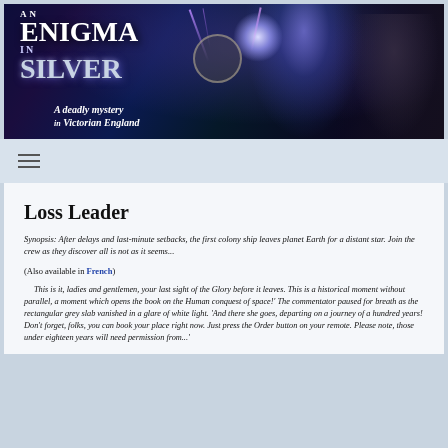[Figure (illustration): Book banner for 'An Enigma in Silver - A deadly mystery in Victorian England'. Dark blue/purple atmospheric background with glowing light, lightning effects, a pocket watch, and an elderly bearded man on the right. Large white bold text reads 'AN ENIGMA IN SILVER'. Italic subtitle reads 'A deadly mystery in Victorian England'.]
Loss Leader
Synopsis: After delays and last-minute setbacks, the first colony ship leaves planet Earth for a distant star. Join the crew as they discover all is not as it seems...
(Also available in French)
This is it, ladies and gentlemen, your last sight of the Glory before it leaves. This is a historical moment without parallel, a moment which opens the book on the Human conquest of space!' The commentator paused for breath as the rectangular grey slab vanished in a glare of white light. 'And there she goes, departing on a journey of a hundred years! Don't forget, folks, you can book your place right now. Just press the Order button on your remote. Please note, those under eighteen years will need permission from...'